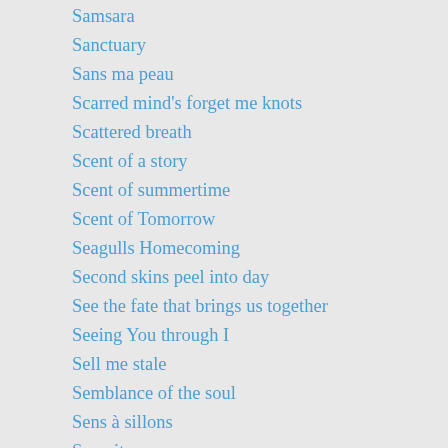Samsara
Sanctuary
Sans ma peau
Scarred mind's forget me knots
Scattered breath
Scent of a story
Scent of summertime
Scent of Tomorrow
Seagulls Homecoming
Second skins peel into day
See the fate that brings us together
Seeing You through I
Sell me stale
Semblance of the soul
Sens à sillons
Serenity sweeps
Sereno variabile
Set against moonfall
Setting boundary
Setting fire to the moon